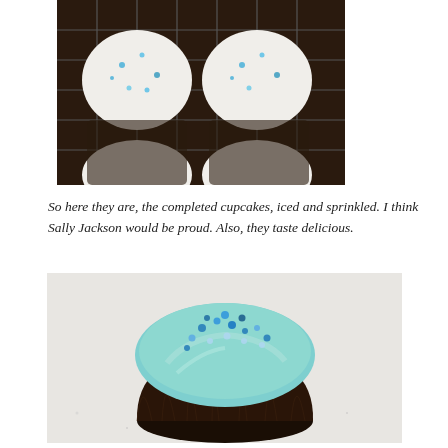[Figure (photo): Top-down view of chocolate cupcakes with white and blue sprinkled icing arranged on a cooling rack]
So here they are, the completed cupcakes, iced and sprinkled. I think Sally Jackson would be proud. Also, they taste delicious.
[Figure (photo): Close-up of a single chocolate cupcake with light blue frosting and blue sugar crystal sprinkles on top, sitting on a white surface]